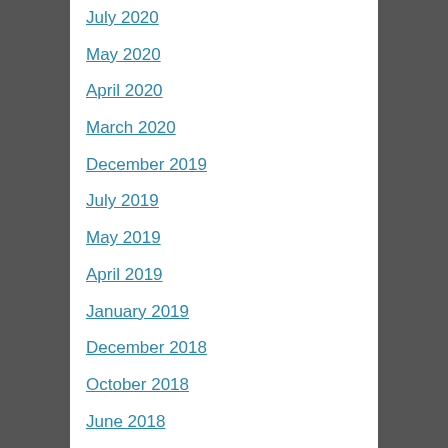July 2020
May 2020
April 2020
March 2020
December 2019
July 2019
May 2019
April 2019
January 2019
December 2018
October 2018
June 2018
May 2018
April 2018
February 2018
October 2017